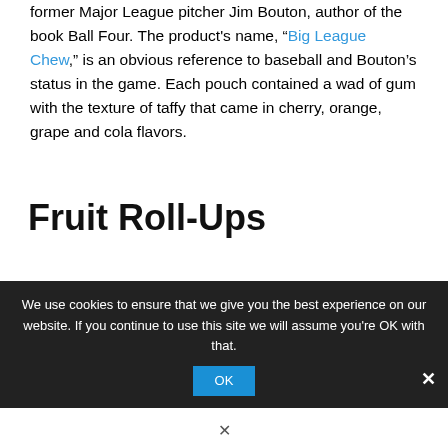former Major League pitcher Jim Bouton, author of the book Ball Four. The product's name, "Big League Chew," is an obvious reference to baseball and Bouton's status in the game. Each pouch contained a wad of gum with the texture of taffy that came in cherry, orange, grape and cola flavors.
Fruit Roll-Ups
Though not technically candy, Fruit Roll-Ups were wildly popular in the 1980s. The product was introduced by General Mills in 1988, and fruit-flavored chewy sheets of pureed fruit were wrapped up into a
We use cookies to ensure that we give you the best experience on our website. If you continue to use this site we will assume you're OK with that.